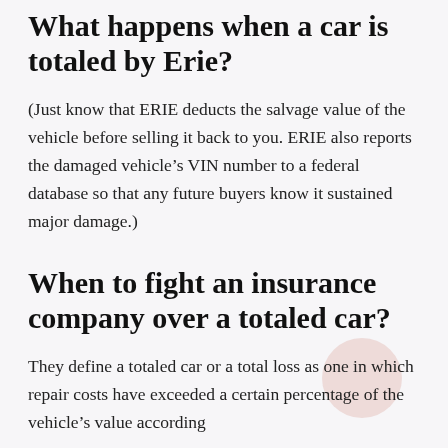What happens when a car is totaled by Erie?
(Just know that ERIE deducts the salvage value of the vehicle before selling it back to you. ERIE also reports the damaged vehicle’s VIN number to a federal database so that any future buyers know it sustained major damage.)
When to fight an insurance company over a totaled car?
They define a totaled car or a total loss as one in which repair costs have exceeded a certain percentage of the vehicle’s value according